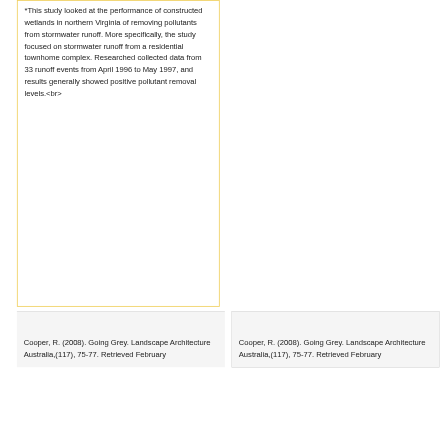*This study looked at the performance of constructed wetlands in northern Virginia of removing pollutants from stormwater runoff. More specifically, the study focused on stormwater runoff from a residential townhome complex. Researched collected data from 33 runoff events from April 1996 to May 1997, and results generally showed positive pollutant removal levels.<br>
Cooper, R. (2008). Going Grey. Landscape Architecture Australia,(117), 75-77. Retrieved February
Cooper, R. (2008). Going Grey. Landscape Architecture Australia,(117), 75-77. Retrieved February